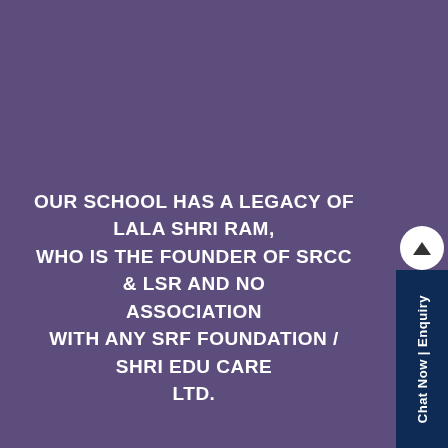OUR SCHOOL HAS A LEGACY OF LALA SHRI RAM, WHO IS THE FOUNDER OF SRCC & LSR AND NO ASSOCIATION WITH ANY SRF FOUNDATION / SHRI EDU CARE LTD.
[Figure (infographic): Dark navy blue vertical sidebar on right edge with rotated white text 'Chat Now | Enquiry' and a white circular button with an upward arrow below it]